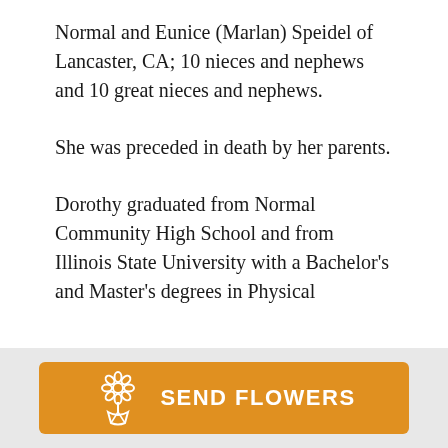Normal and Eunice (Marlan) Speidel of Lancaster, CA; 10 nieces and nephews and 10 great nieces and nephews.
She was preceded in death by her parents.
Dorothy graduated from Normal Community High School and from Illinois State University with a Bachelor's and Master's degrees in Physical
[Figure (other): Orange 'Send Flowers' button with a white flower bouquet icon and bold white text reading 'SEND FLOWERS']